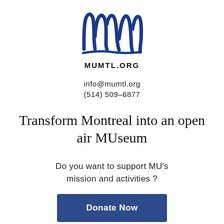[Figure (logo): MU Montreal museum logo — stylized handwritten 'mw' in dark blue ink above the text MUMTL.ORG]
info@mumtl.org
(514) 509-6877
Transform Montreal into an open air MUseum
Do you want to support MU's mission and activities ?
Donate Now